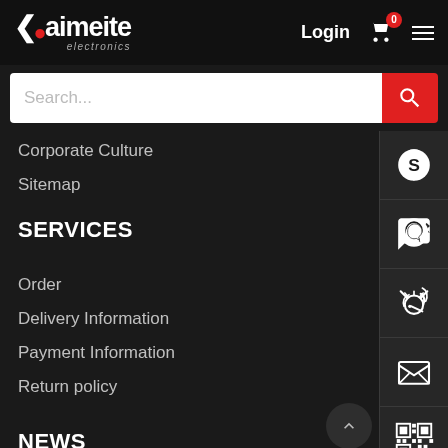[Figure (logo): Kaimeite electronics logo with red dot and arrow on black header]
Login
0
Corporate Culture
Sitemap
SERVICES
Order
Delivery Information
Payment Information
Return policy
NEWS